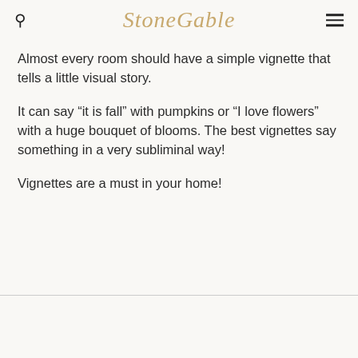StoneGable
Almost every room should have a simple vignette that tells a little visual story.
It can say “it is fall” with pumpkins or “I love flowers” with a huge bouquet of blooms. The best vignettes say something in a very subliminal way!
Vignettes are a must in your home!